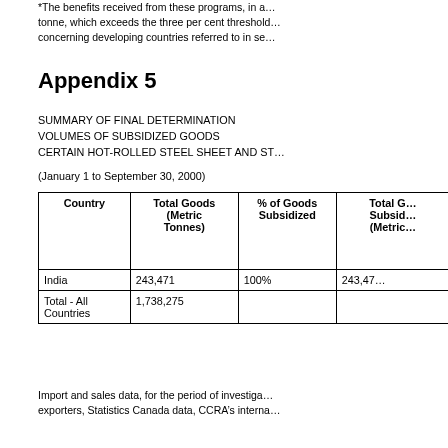*The benefits received from these programs, in a... tonne, which exceeds the three per cent threshold... concerning developing countries referred to in se...
Appendix 5
SUMMARY OF FINAL DETERMINATION VOLUMES OF SUBSIDIZED GOODS CERTAIN HOT-ROLLED STEEL SHEET AND ST...
(January 1 to September 30, 2000)
| Country | Total Goods (Metric Tonnes) | % of Goods Subsidized | Total G... Subsid... (Metric... |
| --- | --- | --- | --- |
| India | 243,471 | 100% | 243,47... |
| Total - All Countries | 1,738,275 |  |  |
Import and sales data, for the period of investiga... exporters, Statistics Canada data, CCRA's interna...